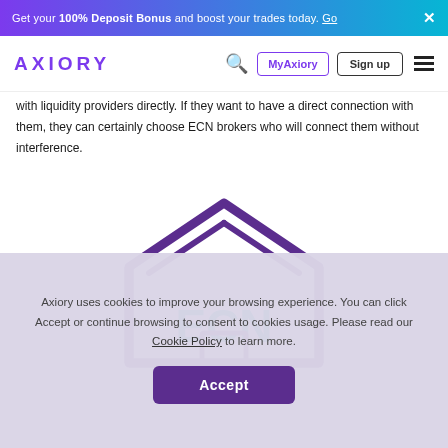Get your 100% Deposit Bonus and boost your trades today. Go ×
AXIORY  MyAxiory  Sign up
with liquidity providers directly. If they want to have a direct connection with them, they can certainly choose ECN brokers who will connect them without interference.
[Figure (illustration): ECN house/building icon with purple outline and teal 'ECN' text inside, representing an ECN broker concept]
Axiory uses cookies to improve your browsing experience. You can click Accept or continue browsing to consent to cookies usage. Please read our Cookie Policy to learn more.